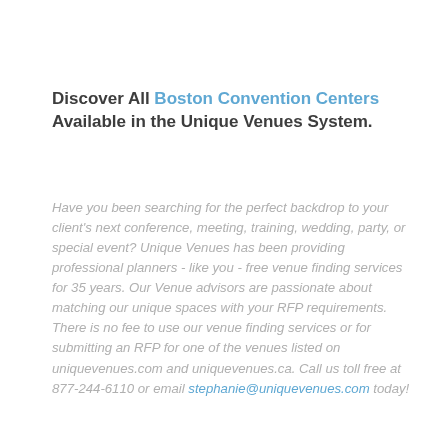Discover All Boston Convention Centers Available in the Unique Venues System.
Have you been searching for the perfect backdrop to your client's next conference, meeting, training, wedding, party, or special event? Unique Venues has been providing professional planners - like you - free venue finding services for 35 years. Our Venue advisors are passionate about matching our unique spaces with your RFP requirements. There is no fee to use our venue finding services or for submitting an RFP for one of the venues listed on uniquevenues.com and uniquevenues.ca. Call us toll free at 877-244-6110 or email stephanie@uniquevenues.com today!